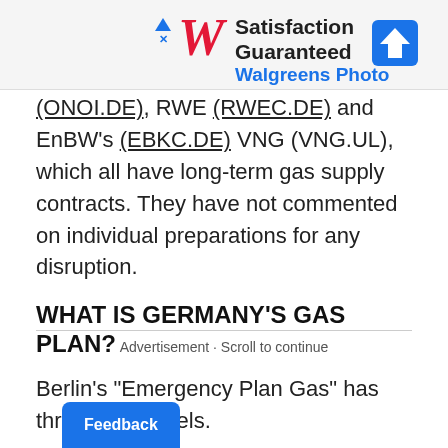[Figure (screenshot): Walgreens Photo advertisement banner with logo, 'Satisfaction Guaranteed' text, and blue map/navigation badge icon]
(ONOI.DE), RWE (RWEC.DE) and EnBW's (EBKC.DE) VNG (VNG.UL), which all have long-term gas supply contracts. They have not commented on individual preparations for any disruption.
WHAT IS GERMANY'S GAS PLAN?
Berlin's "Emergency Plan Gas" has three crisis levels.
Advertisement · Scroll to continue